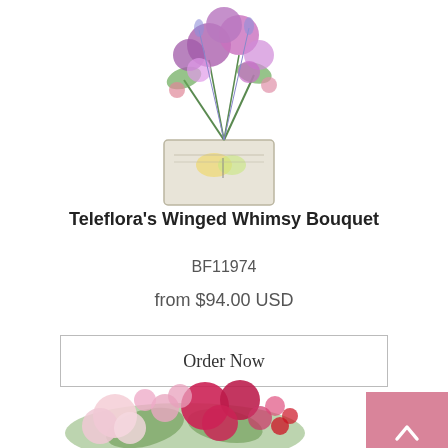[Figure (photo): Top portion of Teleflora's Winged Whimsy Bouquet flower arrangement with purple and pink flowers in a butterfly-decorated glass vase, cropped at top of page]
Teleflora's Winged Whimsy Bouquet
BF11974
from $94.00 USD
Order Now
[Figure (photo): Bottom portion of a pink and red rose bouquet with mixed flowers including alstroemeria, carnations and greenery, cropped to show upper portion at bottom of page]